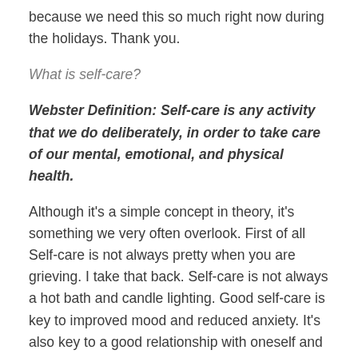because we need this so much right now during the holidays.  Thank you.
What is self-care?
Webster Definition: Self-care is any activity that we do deliberately, in order to take care of our mental, emotional, and physical health.
Although it’s a simple concept in theory, it’s something we very often overlook. First of all Self-care is not always pretty when you are grieving.  I take that back.  Self-care is not always a hot bath and candle lighting. Good self-care is key to improved mood and reduced anxiety. It’s also key to a good relationship with oneself and another.